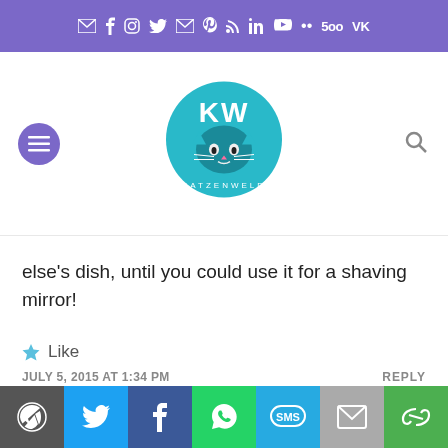Social icons bar: email, facebook, instagram, twitter, email, pinterest, rss, linkedin, youtube, 500px, VK
[Figure (logo): KatzenWeld blog logo - cat face in teal circle with KW letters]
else's dish, until you could use it for a shaving mirror!
Like
JULY 5, 2015 AT 1:34 PM
REPLY
[Figure (illustration): Cat avatar - cartoon cat face on dark purple/maroon circular background]
Lady Joyful says: Yup, that sounds like Sampson. When he gets at the other cats bowls you'd think there'd never been food in them! Thanks for commenting 🙂
Share buttons: WordPress, Twitter, Facebook, WhatsApp, SMS, Email, Copy link